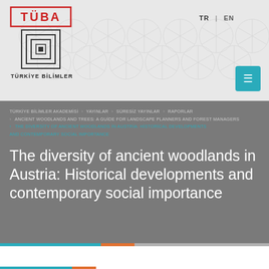[Figure (logo): TÜBA - Türkiye Bilimler Akademisi logo with geometric pattern background and language navigation TR | EN]
TÜRKİYE BİLİMLER AKADEMİSİ › YAYINLAR › SÜRESİZ YAYINLAR › RAPORLAR › ANCIENT WOODLANDS AND TREES: A GUIDE FOR LANDSCAPE PLANNERS AND FOREST MANAGERS › THE DIVERSITY OF ANCIENT WOODLANDS IN AUSTRIA: HISTORICAL DEVELOPMENTS AND CONTEMPORARY SOCIAL IMPORTANCE
The diversity of ancient woodlands in Austria: Historical developments and contemporary social importance